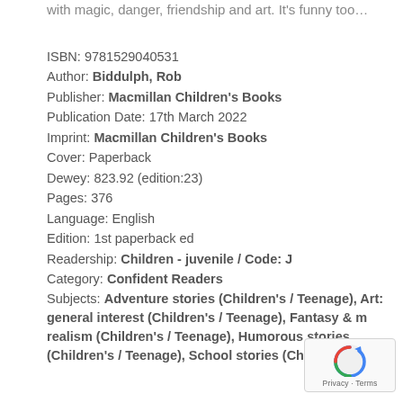with magic, danger, friendship and art. It's funny too…
ISBN: 9781529040531
Author: Biddulph, Rob
Publisher: Macmillan Children's Books
Publication Date: 17th March 2022
Imprint: Macmillan Children's Books
Cover: Paperback
Dewey: 823.92 (edition:23)
Pages: 376
Language: English
Edition: 1st paperback ed
Readership: Children - juvenile / Code: J
Category: Confident Readers
Subjects: Adventure stories (Children's / Teenage), Art: general interest (Children's / Teenage), Fantasy & magic realism (Children's / Teenage), Humorous stories (Children's / Teenage), School stories (Children's /